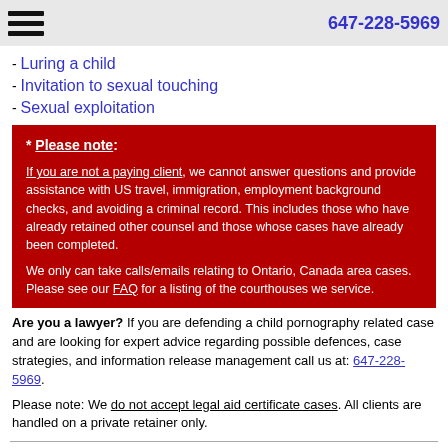647-228-5969
Luring a child
Invitation to sexual touching
Sexual exploitation
* Please note: If you are not a paying client, we cannot answer questions and provide assistance with US travel, immigration, employment background checks, and avoiding a criminal record. This includes those who have already retained other counsel and those whose cases have already been completed. We only can take calls/emails relating to Ontario, Canada area cases. Please see our FAQ for a listing of the courthouses we service.
Are you a lawyer? If you are defending a child pornography related case and are looking for expert advice regarding possible defences, case strategies, and information release management call us at: 647-228-5969.
Please note: We do not accept legal aid certificate cases. All clients are handled on a private retainer only.
Home | FAQ | Terms | About | Contact